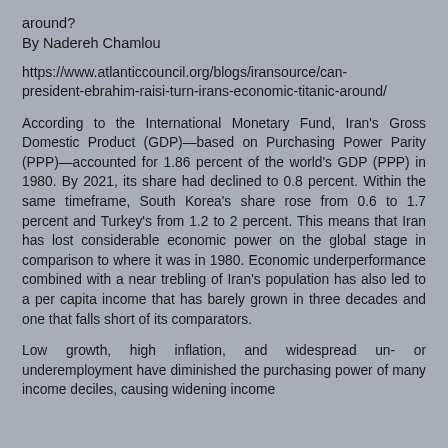around?
By Nadereh Chamlou
https://www.atlanticcouncil.org/blogs/iransource/can-president-ebrahim-raisi-turn-irans-economic-titanic-around/
According to the International Monetary Fund, Iran's Gross Domestic Product (GDP)—based on Purchasing Power Parity (PPP)—accounted for 1.86 percent of the world's GDP (PPP) in 1980. By 2021, its share had declined to 0.8 percent. Within the same timeframe, South Korea's share rose from 0.6 to 1.7 percent and Turkey's from 1.2 to 2 percent. This means that Iran has lost considerable economic power on the global stage in comparison to where it was in 1980. Economic underperformance combined with a near trebling of Iran's population has also led to a per capita income that has barely grown in three decades and one that falls short of its comparators.
Low growth, high inflation, and widespread un- or underemployment have diminished the purchasing power of many income deciles, causing widening income